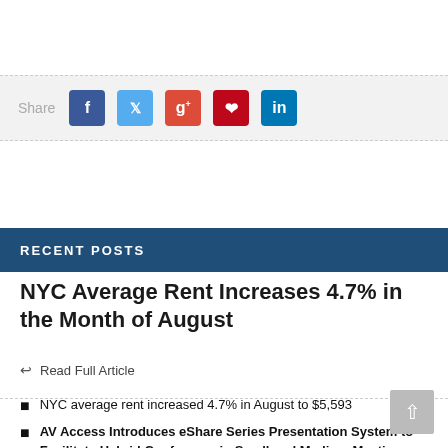[Figure (other): Social share bar with Share label and buttons for Facebook, Twitter, Google+, Pinterest, LinkedIn]
RECENT POSTS
NYC Average Rent Increases 4.7% in the Month of August
Read Full Article
NYC average rent increased 4.7% in August to $5,593
AV Access Introduces eShare Series Presentation System to Facilitate Hybrid Conference in Small and Medium Meeting Rooms